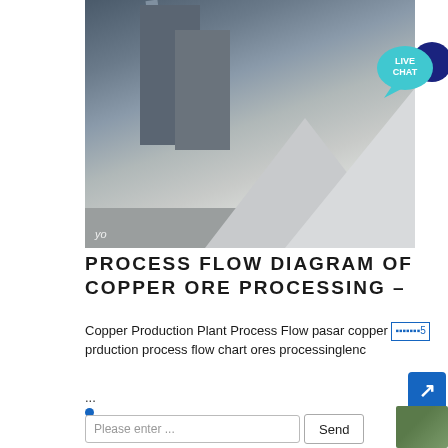[Figure (photo): Industrial copper ore processing plant with crusher machinery, silos, conveyor belts, and large gravel/ore piles in the foreground. Watermark 'yo' visible at bottom left.]
[Figure (infographic): Live Chat bubble icon in teal and dark blue in upper right corner of page]
PROCESS FLOW DIAGRAM OF COPPER ORE PROCESSING –
Copper Production Plant Process Flow pasar copper production process flow chart ores processingglenc...
...
Please enter ...
Send